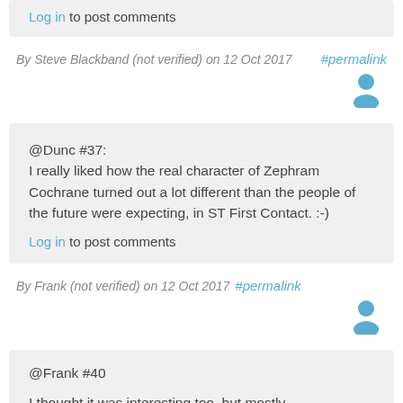Log in to post comments
By Steve Blackband (not verified) on 12 Oct 2017 #permalink
[Figure (illustration): User avatar icon (blue silhouette)]
@Dunc #37:
I really liked how the real character of Zephram Cochrane turned out a lot different than the people of the future were expecting, in ST First Contact. :-)
Log in to post comments
By Frank (not verified) on 12 Oct 2017 #permalink
[Figure (illustration): User avatar icon (blue silhouette)]
@Frank #40
I thought it was interesting too, but mostly